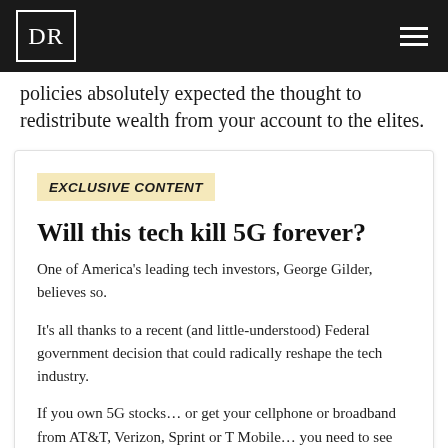DR
policies absolutely expected the thought to redistribute wealth from your account to the elites.
EXCLUSIVE CONTENT
Will this tech kill 5G forever?
One of America's leading tech investors, George Gilder, believes so.
It's all thanks to a recent (and little-understood) Federal government decision that could radically reshape the tech industry.
If you own 5G stocks… or get your cellphone or broadband from AT&T, Verizon, Sprint or T Mobile… you need to see this.